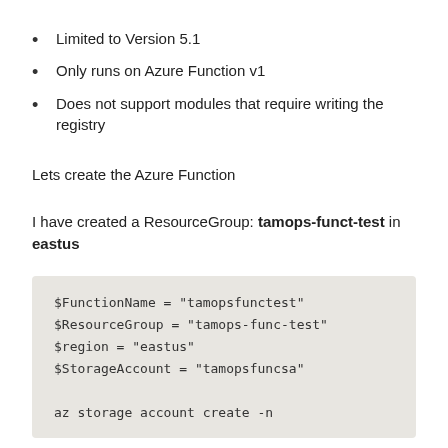Limited to Version 5.1
Only runs on Azure Function v1
Does not support modules that require writing the registry
Lets create the Azure Function
I have created a ResourceGroup: tamops-funct-test in eastus
$FunctionName = "tamopsfunctest"
$ResourceGroup = "tamops-func-test"
$region = "eastus"
$StorageAccount = "tamopsfuncsa"

az storage account create -n